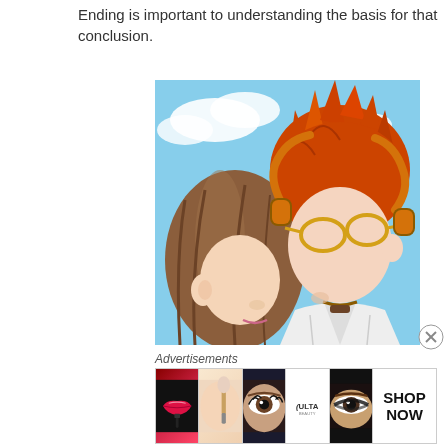Ending is important to understanding the basis for that conclusion.
[Figure (illustration): Anime-style illustration of two characters about to kiss. A male character with spiky orange-red hair wearing gold-framed glasses and orange headphones over a white shirt, and a female character with long brown hair. Blue sky with clouds in background.]
Advertisements
[Figure (infographic): Advertisement banner for ULTA beauty, showing makeup-related images including red lips, a makeup brush, an eye with mascara, the ULTA logo, smoky eye makeup, and a 'SHOP NOW' call to action button.]